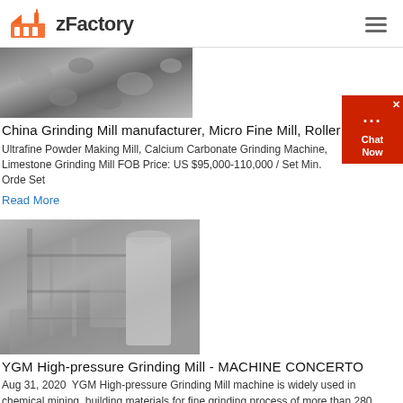zFactory
[Figure (photo): Close-up of crushed rock/gravel material from a grinding mill]
China Grinding Mill manufacturer, Micro Fine Mill, Roller ...
Ultrafine Powder Making Mill, Calcium Carbonate Grinding Machine, Limestone Grinding Mill FOB Price: US $95,000-110,000 / Set Min. Orde Set
Read More
[Figure (photo): Industrial grinding mill facility with silos, pipes and scaffolding]
YGM High-pressure Grinding Mill - MACHINE CONCERTO
Aug 31, 2020  YGM High-pressure Grinding Mill machine is widely used in chemical mining, building materials for fine grinding process of more than 280 types of materials with mohs hardness less than 9.3 and humidity below 6%. This machine has a rock processing capacity of 0.5–60 t / h.